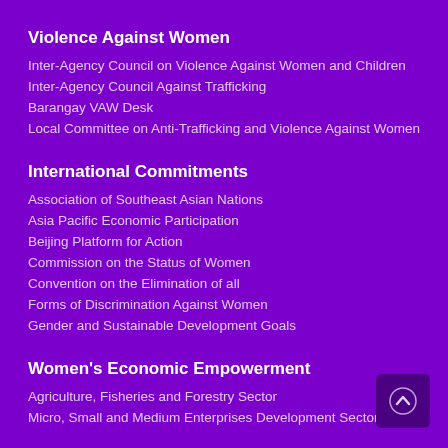Violence Against Women
Inter-Agency Council on Violence Against Women and Children
Inter-Agency Council Against Trafficking
Barangay VAW Desk
Local Committee on Anti-Trafficking and Violence Against Women
International Commitments
Association of Southeast Asian Nations
Asia Pacific Economic Participation
Beijing Platform for Action
Commission on the Status of Women
Convention on the Elimination of all
Forms of Discrimination Against Women
Gender and Sustainable Development Goals
Women's Economic Empowerment
Agriculture, Fisheries and Forestry Sector
Micro, Small and Medium Enterprises Development Sector